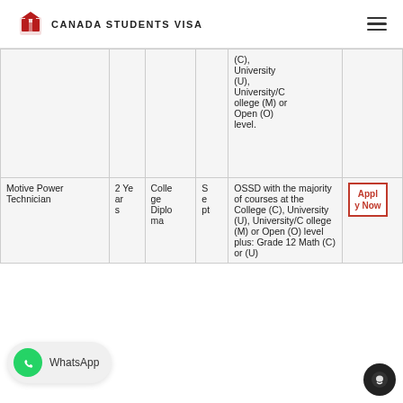CANADA STUDENTS VISA
| Program | Duration | Credential | Intake | Requirements | Apply |
| --- | --- | --- | --- | --- | --- |
|  |  |  |  | (C), University (U), University/College (M) or Open (O) level. |  |
| Motive Power Technician | 2 Years | College Diploma | Sept | OSSD with the majority of courses at the College (C), University (U), University/College (M) or Open (O) level plus: Grade 12 Math (C) or (U) | Apply Now |